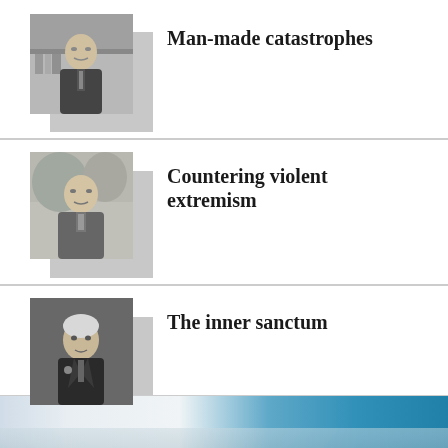[Figure (photo): Grayscale portrait of a man in a suit at a desk]
Man-made catastrophes
[Figure (photo): Grayscale portrait of a man outdoors]
Countering violent extremism
[Figure (photo): Grayscale portrait of an older man in a suit]
The inner sanctum
[Figure (photo): Blue gradient landscape/sky image at bottom of page]